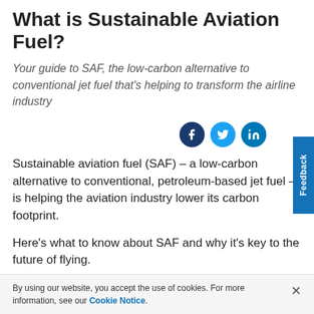What is Sustainable Aviation Fuel?
Your guide to SAF, the low-carbon alternative to conventional jet fuel that's helping to transform the airline industry
Sustainable aviation fuel (SAF) – a low-carbon alternative to conventional, petroleum-based jet fuel – is helping the aviation industry lower its carbon footprint.
Here's what to know about SAF and why it's key to the future of flying.
How does SAF wor…
By using our website, you accept the use of cookies. For more information, see our Cookie Notice.